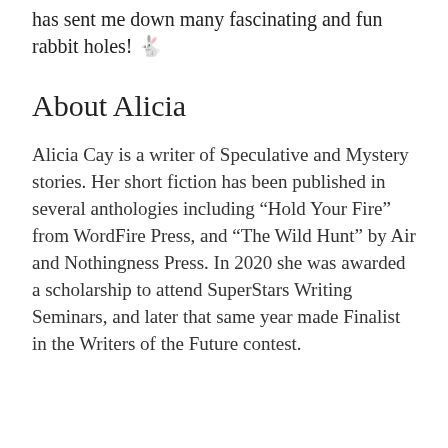has sent me down many fascinating and fun rabbit holes! 🐇
About Alicia
Alicia Cay is a writer of Speculative and Mystery stories. Her short fiction has been published in several anthologies including “Hold Your Fire” from WordFire Press, and “The Wild Hunt” by Air and Nothingness Press. In 2020 she was awarded a scholarship to attend SuperStars Writing Seminars, and later that same year made Finalist in the Writers of the Future contest.